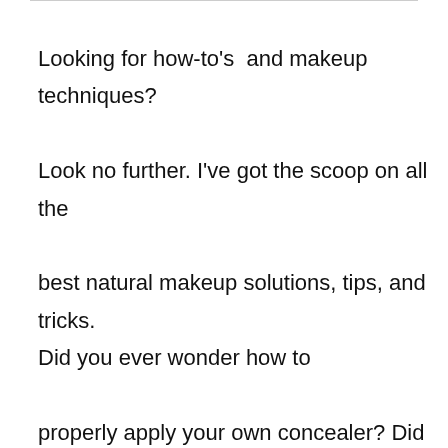Looking for how-to's  and makeup techniques?

Look no further. I've got the scoop on all the best natural makeup solutions, tips, and tricks. Did you ever wonder how to properly apply your own concealer? Did you ever wonder how to make your own  foundation using your favorite body lotion? Here is the ultimate list of do it yourself remedies for a natural look! We highly